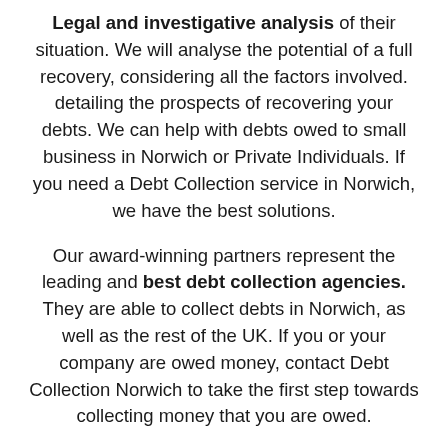Legal and investigative analysis of their situation. We will analyse the potential of a full recovery, considering all the factors involved. detailing the prospects of recovering your debts. We can help with debts owed to small business in Norwich or Private Individuals. If you need a Debt Collection service in Norwich, we have the best solutions.
Our award-winning partners represent the leading and best debt collection agencies. They are able to collect debts in Norwich, as well as the rest of the UK. If you or your company are owed money, contact Debt Collection Norwich to take the first step towards collecting money that you are owed.